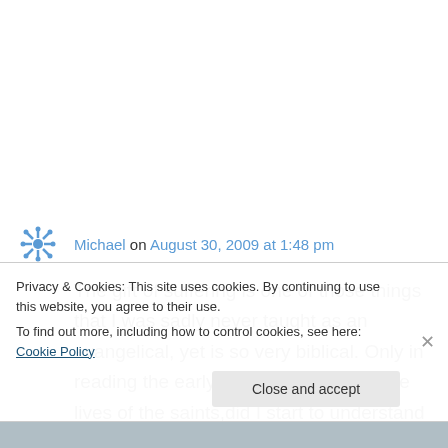Michael on August 30, 2009 at 1:48 pm
The gift of suffering is one of those things that I was sadly never taught as an evangelical, yet is so very biblical. Only in reading the early church fathers and the lives of the saints,did I start to understand how our pain brings us closer to
Privacy & Cookies: This site uses cookies. By continuing to use this website, you agree to their use.
To find out more, including how to control cookies, see here: Cookie Policy
Close and accept